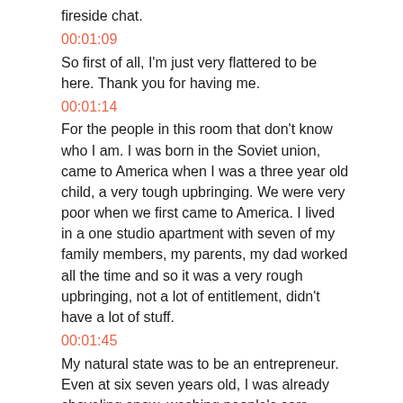fireside chat.
00:01:09
So first of all, I'm just very flattered to be here. Thank you for having me.
00:01:14
For the people in this room that don't know who I am. I was born in the Soviet union, came to America when I was a three year old child, a very tough upbringing. We were very poor when we first came to America. I lived in a one studio apartment with seven of my family members, my parents, my dad worked all the time and so it was a very rough upbringing, not a lot of entitlement, didn't have a lot of stuff.
00:01:45
My natural state was to be an entrepreneur. Even at six seven years old, I was already shoveling snow, washing people's cars, selling juice and lemonade and candy. It was always to do a hustle.
00:02:04
Somewhere along that time in New Jersey, sports cards became a very big thing in America, baseball cards,